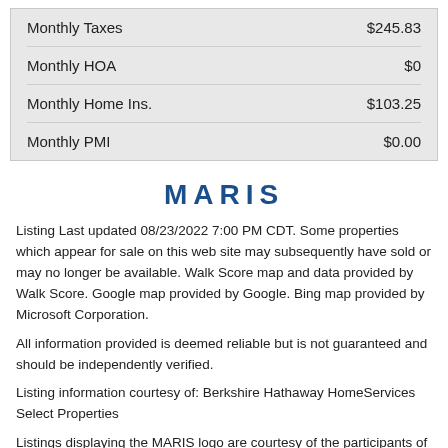| Item | Amount |
| --- | --- |
| Monthly Taxes | $245.83 |
| Monthly HOA | $0 |
| Monthly Home Ins. | $103.25 |
| Monthly PMI | $0.00 |
MARIS
Listing Last updated 08/23/2022 7:00 PM CDT. Some properties which appear for sale on this web site may subsequently have sold or may no longer be available. Walk Score map and data provided by Walk Score. Google map provided by Google. Bing map provided by Microsoft Corporation.
All information provided is deemed reliable but is not guaranteed and should be independently verified.
Listing information courtesy of: Berkshire Hathaway HomeServices Select Properties
Listings displaying the MARIS logo are courtesy of the participants of Mid America Regional Information Systems Internet Data Exchange